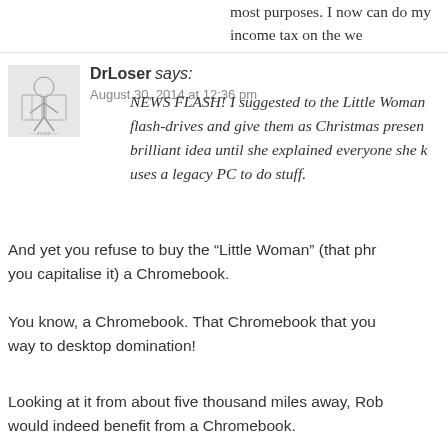most purposes. I now can do my income tax on the we
DrLoser says:
August 30, 2014 at 12:36 pm
NEWS FLASH! I suggested to the Little Woman to buy flash-drives and give them as Christmas presents. Thought it a brilliant idea until she explained everyone she knows uses a legacy PC to do stuff.
And yet you refuse to buy the “Little Woman” (that phrase, since you capitalise it) a Chromebook.
You know, a Chromebook. That Chromebook that you claim is on its way to desktop domination!
Looking at it from about five thousand miles away, Rob would indeed benefit from a Chromebook.